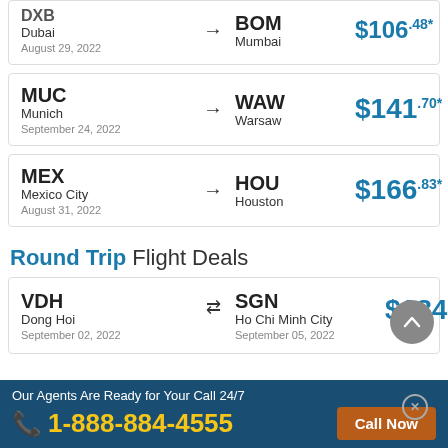DXB Dubai August 29, 2022 → BOM Mumbai $106.48*
MUC Munich September 24, 2022 → WAW Warsaw $141.70*
MEX Mexico City August 31, 2022 → HOU Houston $166.83*
Round Trip Flight Deals
VDH Dong Hoi September 02, 2022 ⇄ SGN Ho Chi Minh City September 05, 2022 $184.50*
Our Agents Are Ready for Your Call 24/7
1-888-884-4555
Call Now